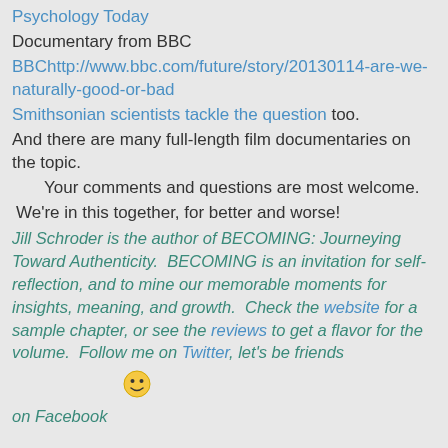Psychology Today
Documentary from BBC
BBChttp://www.bbc.com/future/story/20130114-are-we-naturally-good-or-bad
Smithsonian scientists tackle the question too.
And there are many full-length film documentaries on the topic.
Your comments and questions are most welcome.
We're in this together, for better and worse!
Jill Schroder is the author of BECOMING: Journeying Toward Authenticity. BECOMING is an invitation for self-reflection, and to mine our memorable moments for insights, meaning, and growth. Check the website for a sample chapter, or see the reviews to get a flavor for the volume. Follow me on Twitter, let's be friends
[Figure (illustration): Smiley face emoji]
on Facebook